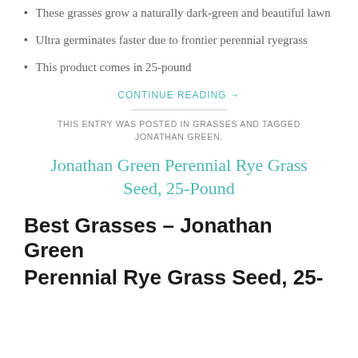These grasses grow a naturally dark-green and beautiful lawn
Ultra germinates faster due to frontier perennial ryegrass
This product comes in 25-pound
CONTINUE READING →
THIS ENTRY WAS POSTED IN GRASSES AND TAGGED JONATHAN GREEN.
Jonathan Green Perennial Rye Grass Seed, 25-Pound
Best Grasses – Jonathan Green
Perennial Rye Grass Seed, 25-